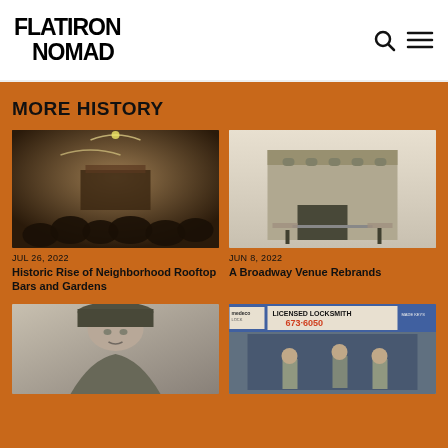FLATIRON NOMAD
MORE HISTORY
[Figure (photo): Historical black and white sepia photo of a crowded rooftop bar or garden with arc lights overhead and people in hats]
JUL 26, 2022
Historic Rise of Neighborhood Rooftop Bars and Gardens
[Figure (photo): Historical black and white photo of a Broadway building/venue with storefronts and street view]
JUN 8, 2022
A Broadway Venue Rebrands
[Figure (photo): Black and white portrait photo of a person wearing a hat and coat]
[Figure (photo): Color photo of a Licensed Locksmith storefront with sign reading LICENSED LOCKSMITH 673-6050]